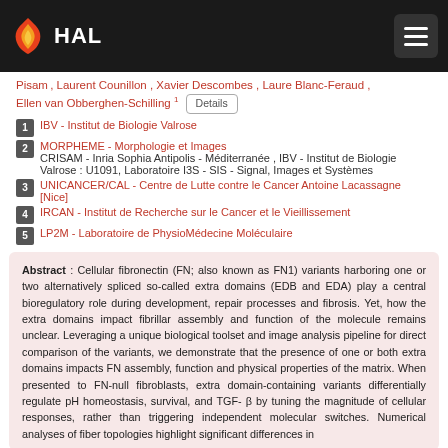HAL
Pisam , Laurent Counillon , Xavier Descombes , Laure Blanc-Feraud , Ellen van Obberghen-Schilling 1  Details
1  IBV - Institut de Biologie Valrose
2  MORPHEME - Morphologie et Images CRISAM - Inria Sophia Antipolis - Méditerranée , IBV - Institut de Biologie Valrose : U1091, Laboratoire I3S - SIS - Signal, Images et Systèmes
3  UNICANCER/CAL - Centre de Lutte contre le Cancer Antoine Lacassagne [Nice]
4  IRCAN - Institut de Recherche sur le Cancer et le Vieillissement
5  LP2M - Laboratoire de PhysioMédecine Moléculaire
Abstract : Cellular fibronectin (FN; also known as FN1) variants harboring one or two alternatively spliced so-called extra domains (EDB and EDA) play a central bioregulatory role during development, repair processes and fibrosis. Yet, how the extra domains impact fibrillar assembly and function of the molecule remains unclear. Leveraging a unique biological toolset and image analysis pipeline for direct comparison of the variants, we demonstrate that the presence of one or both extra domains impacts FN assembly, function and physical properties of the matrix. When presented to FN-null fibroblasts, extra domain-containing variants differentially regulate pH homeostasis, survival, and TGF- β by tuning the magnitude of cellular responses, rather than triggering independent molecular switches. Numerical analyses of fiber topologies highlight significant differences in